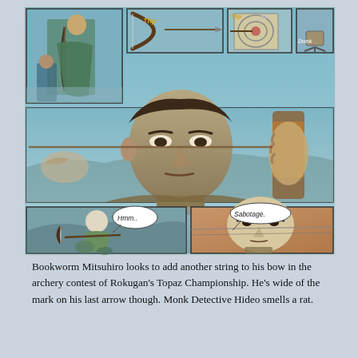[Figure (illustration): A comic book page showing an archery contest scene. Top panels show figures with bows and arrows with sound effects 'Thp', 'Thp', 'Sst', 'Donk'. Middle large panel shows a close-up of a determined male archer drawing his bow. Lower panels show a crouching bald figure with speech bubble 'Hmm..' and a close-up face with speech bubble 'Sabotage.' The art style is detailed color comic illustration with blue-green tones.]
Bookworm Mitsuhiro looks to add another string to his bow in the archery contest of Rokugan's Topaz Championship. He's wide of the mark on his last arrow though. Monk Detective Hideo smells a rat.